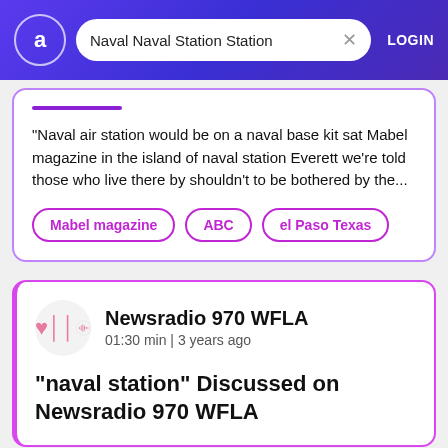Naval Naval Station Station | LOGIN
"Naval air station would be on a naval base kit sat Mabel magazine in the island of naval station Everett we're told those who live there by shouldn't to be bothered by the...
Mabel magazine
ABC
el Paso Texas
Newsradio 970 WFLA
01:30 min | 3 years ago
"naval station" Discussed on Newsradio 970 WFLA